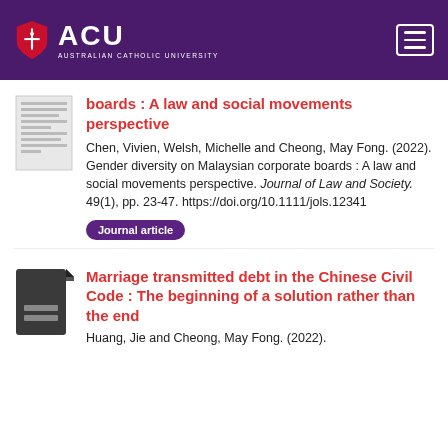[Figure (logo): Australian Catholic University (ACU) logo with shield icon on purple header background]
boards : A law and social movements perspective
Chen, Vivien, Welsh, Michelle and Cheong, May Fong. (2022). Gender diversity on Malaysian corporate boards : A law and social movements perspective. Journal of Law and Society. 49(1), pp. 23-47. https://doi.org/10.1111/jols.12341
Journal article
[Figure (illustration): Dark document/file icon]
Marriage transmitted debt in the Chinese Civil Code : The beginning of a solution rather than the end
Huang, Jie and Cheong, May Fong. (2022).